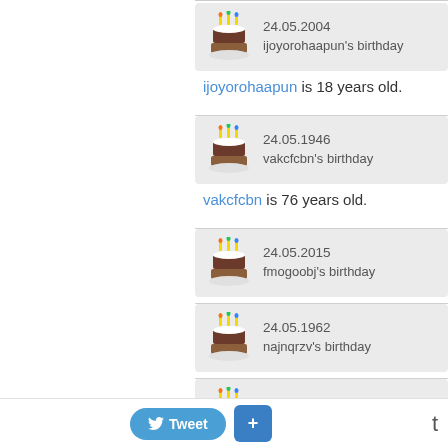[Figure (other): Birthday cake icon with candles]
24.05.2004
ijoyorohaapun's birthday
ijoyorohaapun is 18 years old.
[Figure (other): Birthday cake icon with candles]
24.05.1946
vakcfcbn's birthday
vakcfcbn is 76 years old.
[Figure (other): Birthday cake icon with candles]
24.05.2015
fmogoobj's birthday
fmogoobj is 7 years old.
[Figure (other): Birthday cake icon with candles]
24.05.1962
najnqrzv's birthday
najnqrzv is 60 years old.
[Figure (other): Birthday cake icon with candles]
24.05.1977
etuvcxnw's birthday
etuvcxnw is 45 years old.
[Figure (other): Birthday cake icon with candles]
24.05.1982
idzbuknt's birthday
Tweet  +  t